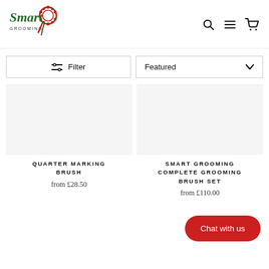[Figure (logo): Smart Grooming logo with cursive text and red/green ribbon graphic]
Filter
Featured
QUARTER MARKING BRUSH
from £28.50
SMART GROOMING COMPLETE GROOMING BRUSH SET
from £110.00
Chat with us